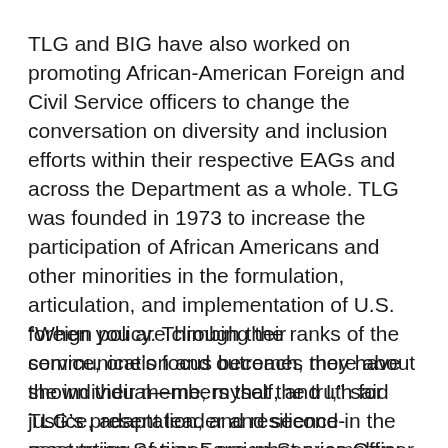TLG and BIG have also worked on promoting African-American Foreign and Civil Service officers to change the conversation on diversity and inclusion efforts within their respective EAGs and across the Department as a whole. TLG was founded in 1973 to increase the participation of African Americans and other minorities in the formulation, articulation, and implementation of U.S. foreign policy. Through their communication and outreach, they have shown their members that the truth for justice, adaptation, and resilience in the most trying of times are what exemplary leaders are made of.
“When you are climbing the ranks of the service, one’s focus becomes more about the individual—me, myself, and I,” said TLG’s present leader and second-generation Senior Foreign Service Officer Irvin Hicks Jr. “But when you are more senior, Foreign Service...